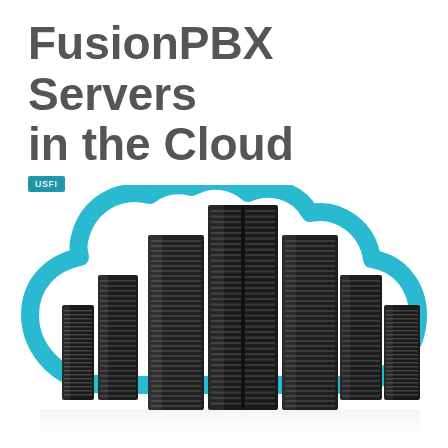FusionPBX Servers in the Cloud
USFI
[Figure (illustration): Illustration of multiple black server racks arranged in a cluster, overlaid with a large cyan/teal cloud outline icon, all on a white background. The servers are tall, dark tower/rack units with horizontal ventilation slats.]